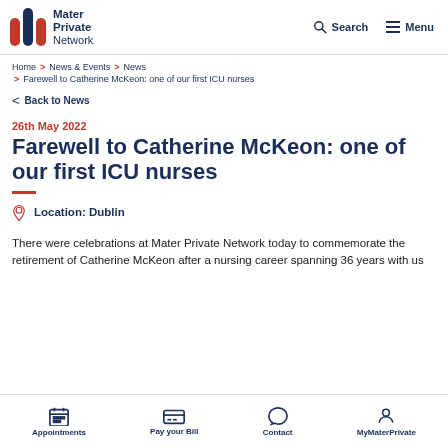Mater Private Network — Search | Menu
Home > News & Events > News > Farewell to Catherine McKeon: one of our first ICU nurses
< Back to News
26th May 2022
Farewell to Catherine McKeon: one of our first ICU nurses
Location: Dublin
There were celebrations at Mater Private Network today to commemorate the retirement of Catherine McKeon after a nursing career spanning 36 years with us
Appointments | Pay your Bill | Contact | MyMaterPrivate